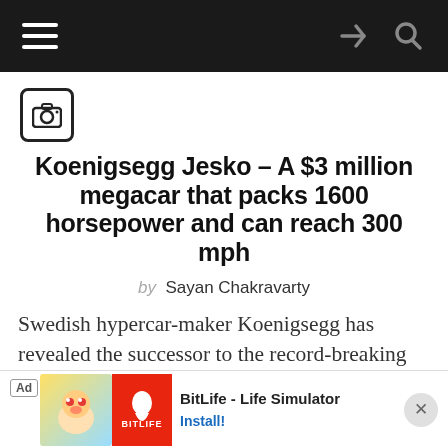Navigation bar with hamburger menu, share and search icons
[Figure (illustration): Camera icon in rounded square border]
Koenigsegg Jesko – A $3 million megacar that packs 1600 horsepower and can reach 300 mph
by Sayan Chakravarty
Swedish hypercar-maker Koenigsegg has revealed the successor to the record-breaking Agera RS, which became the world's fastest production…
[Figure (photo): Scenic outdoor photo showing trees and sky at dusk/sunset]
[Figure (illustration): Ad banner: BitLife - Life Simulator app advertisement with cartoon character and red BitLife logo. Install button shown.]